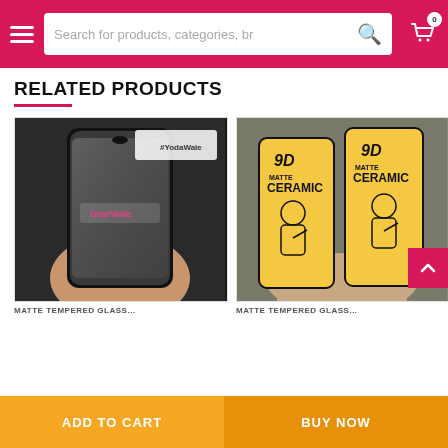Search for products, categories, br
RELATED PRODUCTS
[Figure (photo): Hand holding a smartphone with matte tempered glass screen protector, with GearWale logo watermark]
[Figure (photo): Two 9D Matte Ceramic screen protectors in yellow packaging held in hand]
MATTE TEMPERED GLASS
MATTE TEMPERED GLASS
ADD TO CART | BUY NOW